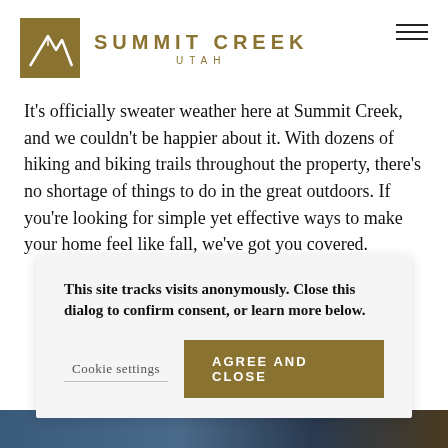[Figure (logo): Summit Creek Utah logo with gold mountain icon and text reading SUMMIT CREEK UTAH]
It's officially sweater weather here at Summit Creek, and we couldn't be happier about it. With dozens of hiking and biking trails throughout the property, there's no shortage of things to do in the great outdoors. If you're looking for simple yet effective ways to make your home feel like fall, we've got you covered.
READ MORE
This site tracks visits anonymously. Close this dialog to confirm consent, or learn more below.
Cookie settings
AGREE AND CLOSE